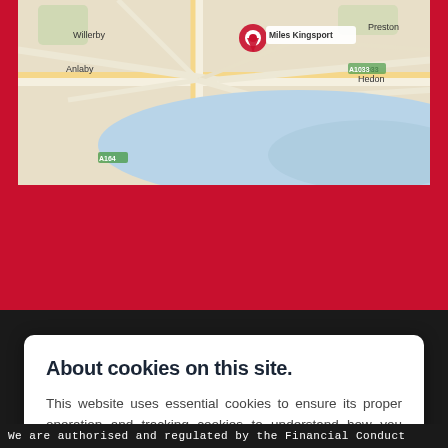[Figure (map): Google Maps screenshot showing Hull/Kingsport area with a red location pin labeled 'Miles Kingsport', showing surrounding areas including Willerby, Anlaby, Preston, Hedon, and a blue water body (Humber estuary).]
About cookies on this site.
This website uses essential cookies to ensure its proper operation and tracking cookies to understand how you interact with it. The latter will be set only after consent. Let me choose
Accept all
Reject all
We are authorised and regulated by the Financial Conduct